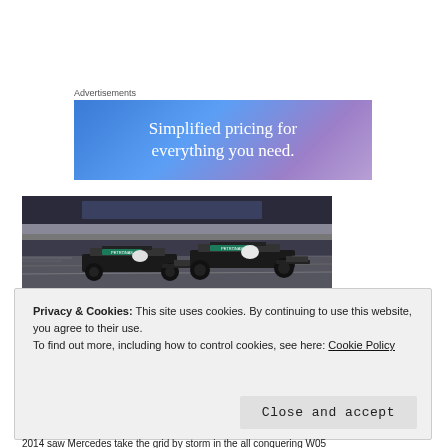Advertisements
[Figure (illustration): Advertisement banner with gradient blue-purple background reading 'Simplified pricing for everything you need.']
[Figure (photo): Two Mercedes F1 cars with PETRONAS branding racing on track at night or dusk]
Privacy & Cookies: This site uses cookies. By continuing to use this website, you agree to their use.
To find out more, including how to control cookies, see here: Cookie Policy
Close and accept
2014 saw Mercedes take the grid by storm in the all conquering W05